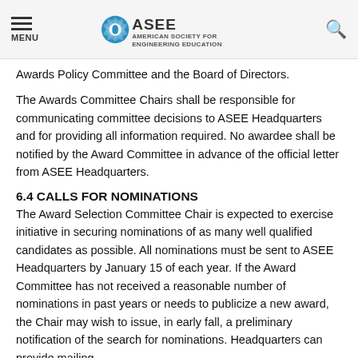MENU | ASEE AMERICAN SOCIETY FOR ENGINEERING EDUCATION
Awards Policy Committee and the Board of Directors.
The Awards Committee Chairs shall be responsible for communicating committee decisions to ASEE Headquarters and for providing all information required. No awardee shall be notified by the Award Committee in advance of the official letter from ASEE Headquarters.
6.4 CALLS FOR NOMINATIONS
The Award Selection Committee Chair is expected to exercise initiative in securing nominations of as many well qualified candidates as possible. All nominations must be sent to ASEE Headquarters by January 15 of each year. If the Award Committee has not received a reasonable number of nominations in past years or needs to publicize a new award, the Chair may wish to issue, in early fall, a preliminary notification of the search for nominations. Headquarters can provide mailing